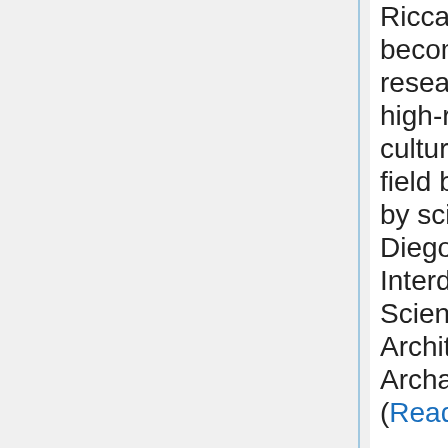Riccardi) has also become a prototype for researchers pursuing high-resolution digital cultural forensics, a field being pioneered by scientists at UC San Diego's Center of Interdisciplinary Science for Art, Architecture and Archaeology (CISA3). (Read More)
October 29, 2008 - High-Tech